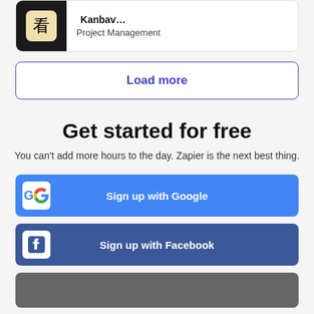[Figure (screenshot): App icon with Chinese character on black background with beige tile, showing Project Management category label]
Project Management
Load more
Get started for free
You can't add more hours to the day. Zapier is the next best thing.
Sign up with Google
Sign up with Facebook